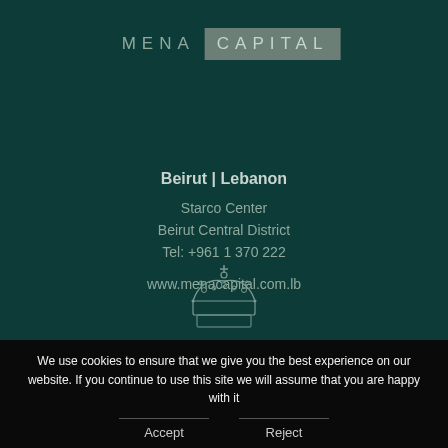[Figure (logo): MENA CAPITAL logo with 'MENA' in spaced letters and 'CAPITAL' in a grey-green box]
Beirut | Lebanon
Starco Center
Beirut Central District
Tel: +961 1 370 222

www.menacapital.com.lb
[Figure (illustration): Crown icon illustration in outline style, grey on dark green background]
We use cookies to ensure that we give you the best experience on our website. If you continue to use this site we will assume that you are happy with it
Accept
Reject